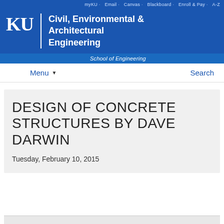myKU · Email · Canvas · Blackboard · Enroll & Pay · A-Z
Civil, Environmental & Architectural Engineering
School of Engineering
Menu ▼
Search
DESIGN OF CONCRETE STRUCTURES BY DAVE DARWIN
Tuesday, February 10, 2015